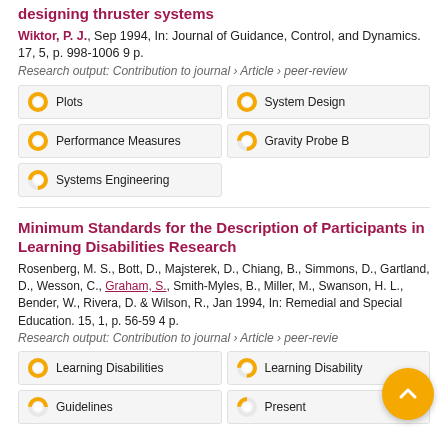designing thruster systems
Wiktor, P. J., Sep 1994, In: Journal of Guidance, Control, and Dynamics. 17, 5, p. 998-1006 9 p.
Research output: Contribution to journal › Article › peer-review
Plots 100%
System Design 100%
Performance Measures 100%
Gravity Probe B 100%
Systems Engineering 75%
Minimum Standards for the Description of Participants in Learning Disabilities Research
Rosenberg, M. S., Bott, D., Majsterek, D., Chiang, B., Simmons, D., Gartland, D., Wesson, C., Graham, S., Smith-Myles, B., Miller, M., Swanson, H. L., Bender, W., Rivera, D. & Wilson, R., Jan 1994, In: Remedial and Special Education. 15, 1, p. 56-59 4 p.
Research output: Contribution to journal › Article › peer-review
Learning Disabilities 100%
Learning Disability 75%
Guidelines 50%
Present 25%